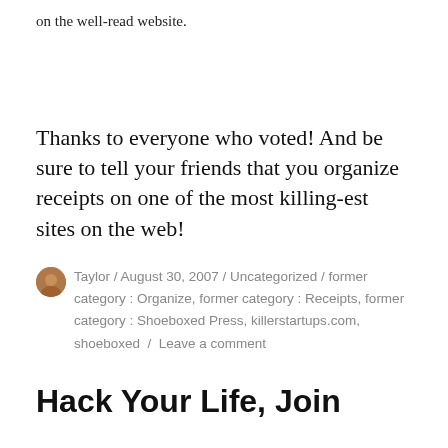on the well-read website.
Thanks to everyone who voted! And be sure to tell your friends that you organize receipts on one of the most killing-est sites on the web!
Taylor / August 30, 2007 / Uncategorized / former category : Organize, former category : Receipts, former category : Shoeboxed Press, killerstartups.com, shoeboxed / Leave a comment
Hack Your Life, Join